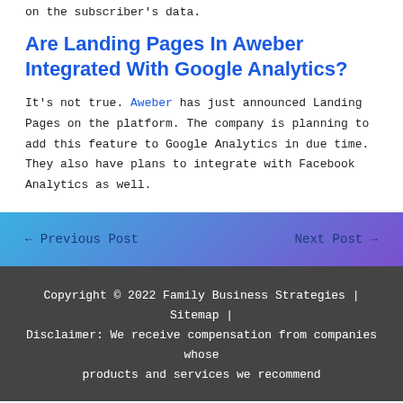on the subscriber's data.
Are Landing Pages In Aweber Integrated With Google Analytics?
It's not true. Aweber has just announced Landing Pages on the platform. The company is planning to add this feature to Google Analytics in due time. They also have plans to integrate with Facebook Analytics as well.
← Previous Post    Next Post →
Copyright © 2022 Family Business Strategies | Sitemap | Disclaimer: We receive compensation from companies whose products and services we recommend